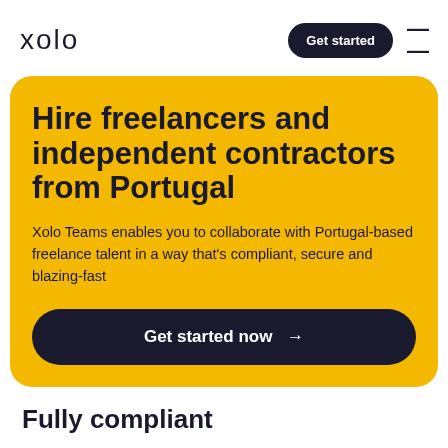xolo
Hire freelancers and independent contractors from Portugal
Xolo Teams enables you to collaborate with Portugal-based freelance talent in a way that's compliant, secure and blazing-fast
Get started now →
Fully compliant